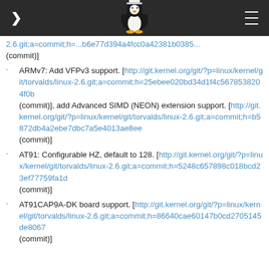[navigation header with penguin logo]
2.6.git;a=commit;h=...b6e77d394a4fcc0a42381b0385... (commit)]
ARMv7: Add VFPv3 support. [http://git.kernel.org/git/?p=linux/kernel/git/torvalds/linux-2.6.git;a=commit;h=25ebee020bd34d1f4c56785382... (commit)], add Advanced SIMD (NEON) extension support. [http://git.kernel.org/git/?p=linux/kernel/git/torvalds/linux-2.6.git;a=commit;h=b5872db4a2ebe7dbc7a5e4013ae8ee... (commit)]
AT91: Configurable HZ, default to 128. [http://git.kernel.org/git/?p=linux/kernel/git/torvalds/linux-2.6.git;a=commit;h=5248c657898c018bcd23ef77759fa1d... (commit)]
AT91CAP9A-DK board support. [http://git.kernel.org/git/?p=linux/kernel/git/torvalds/linux-2.6.git;a=commit;h=86640cae60147b0cd2705145de8067... (commit)]